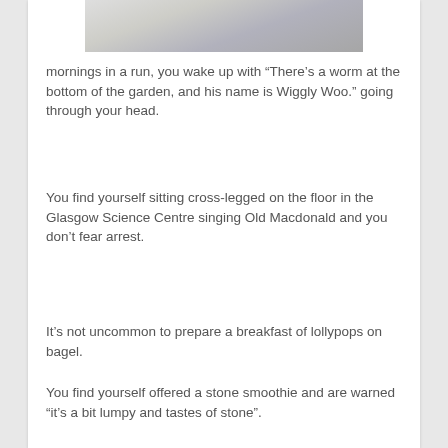[Figure (photo): Partial photo visible at top of page, cropped, showing an indistinct close-up image]
mornings in a run, you wake up with “There’s a worm at the bottom of the garden, and his name is Wiggly Woo.” going through your head.
You find yourself sitting cross-legged on the floor in the Glasgow Science Centre singing Old Macdonald and you don’t fear arrest.
It’s not uncommon to prepare a breakfast of lollypops on bagel.
You find yourself offered a stone smoothie and are warned “it’s a bit lumpy and tastes of stone”.